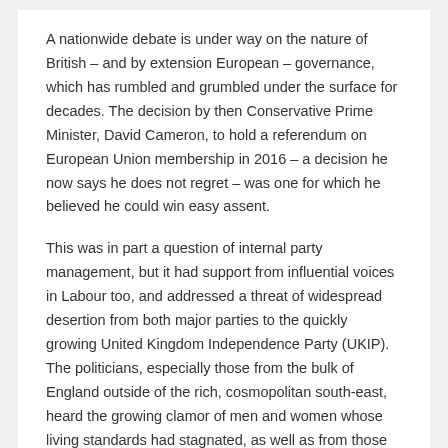A nationwide debate is under way on the nature of British – and by extension European – governance, which has rumbled and grumbled under the surface for decades. The decision by then Conservative Prime Minister, David Cameron, to hold a referendum on European Union membership in 2016 – a decision he now says he does not regret – was one for which he believed he could win easy assent.
This was in part a question of internal party management, but it had support from influential voices in Labour too, and addressed a threat of widespread desertion from both major parties to the quickly growing United Kingdom Independence Party (UKIP). The politicians, especially those from the bulk of England outside of the rich, cosmopolitan south-east, heard the growing clamor of men and women whose living standards had stagnated, as well as from those who called for more democratic control from a political center they could understand and influence – the Westminster parliament.
Like any such wide and deep civic disruption, the vote for Brexit